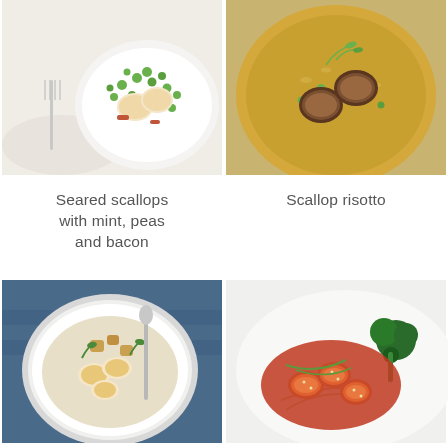[Figure (photo): Overhead shot of seared scallops with green peas and bacon in a white bowl, with a fork on a linen napkin beside it]
[Figure (photo): Overhead shot of scallop risotto with seared scallops on top, garnished with pea shoots, on a white plate]
Seared scallops with mint, peas and bacon
Scallop risotto
[Figure (photo): Overhead shot of seared scallops in a creamy soup/chowder in a speckled white bowl with a spoon, garnished with herbs and croutons]
[Figure (photo): Seared scallops in a glossy orange-red sauce with sesame seeds and green onions, served with broccoli on a white plate]